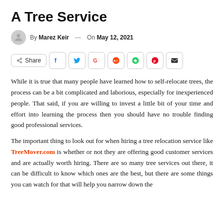A Tree Service
By Marez Keir — On May 12, 2021
[Figure (other): Social share bar with Share button and icons for Facebook, Twitter, Google, Reddit, WhatsApp, Pinterest, and email]
While it is true that many people have learned how to self-relocate trees, the process can be a bit complicated and laborious, especially for inexperienced people. That said, if you are willing to invest a little bit of your time and effort into learning the process then you should have no trouble finding good professional services.
The important thing to look out for when hiring a tree relocation service like TreeMover.com is whether or not they are offering good customer services and are actually worth hiring. There are so many tree services out there, it can be difficult to know which ones are the best, but there are some things you can watch for that will help you narrow down the